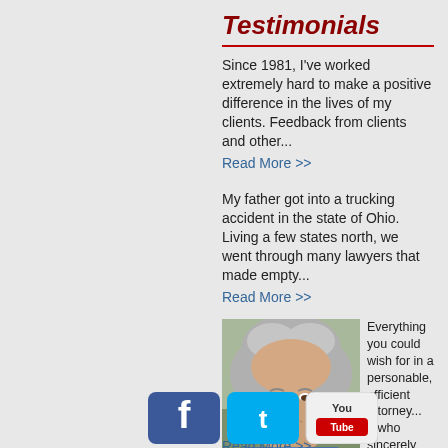Testimonials
Since 1981, I've worked extremely hard to make a positive difference in the lives of my clients. Feedback from clients and other... Read More >>
My father got into a trucking accident in the state of Ohio. Living a few states north, we went through many lawyers that made empty... Read More >>
[Figure (photo): Portrait photo of an elderly woman with short curly grey hair, smiling]
Everything you could wish for in a personable, efficient attorney... ...who sincerely cares about his clients and goes the extra mile... Read More >>
[Figure (infographic): Social media icons: Facebook (blue rounded square), Twitter (cyan rounded square), YouTube (white rounded rectangle)]